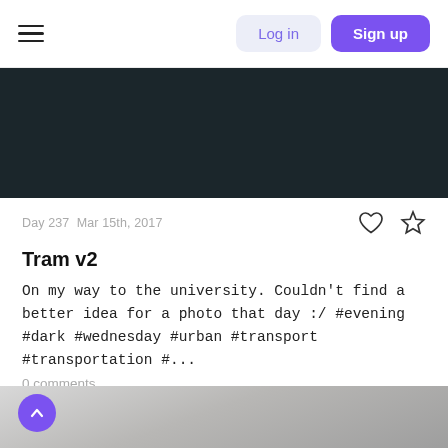Log in  Sign up
[Figure (photo): Dark navy/almost black rectangular banner area]
Day 237  Mar 15th, 2017
Tram v2
On my way to the university. Couldn't find a better idea for a photo that day :/ #evening #dark #wednesday #urban #transport #transportation #...
0 comments
aretzky   Jul 26th, 2017
[Figure (photo): Gray sky photo strip at the bottom of the page]